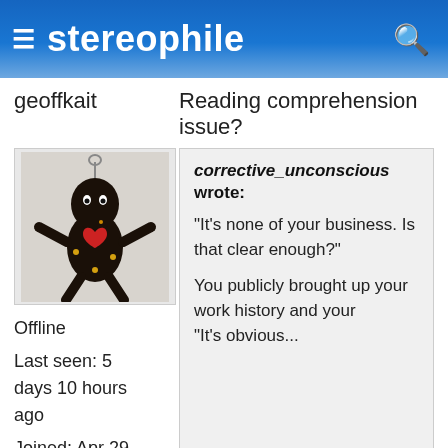≡ stereophile 🔍
geoffkait
Reading comprehension issue?
[Figure (photo): Avatar image of a small dark voodoo doll figurine with red heart and accessories, on a light background.]
Offline
Last seen: 5 days 10 hours ago
Joined: Apr 29 2008 - 5:10am
corrective_unconscious wrote:

"It's none of your business. Is that clear enough?"

You publicly brought up your work history and your
"It's obvious..."